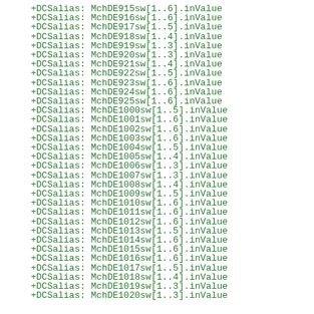+DCSalias: MchDE915sw[1..6].inValue
+DCSalias: MchDE916sw[1..6].inValue
+DCSalias: MchDE917sw[1..5].inValue
+DCSalias: MchDE918sw[1..4].inValue
+DCSalias: MchDE919sw[1..3].inValue
+DCSalias: MchDE920sw[1..3].inValue
+DCSalias: MchDE921sw[1..4].inValue
+DCSalias: MchDE922sw[1..5].inValue
+DCSalias: MchDE923sw[1..6].inValue
+DCSalias: MchDE924sw[1..6].inValue
+DCSalias: MchDE925sw[1..6].inValue
+DCSalias: MchDE1000sw[1..5].inValue
+DCSalias: MchDE1001sw[1..6].inValue
+DCSalias: MchDE1002sw[1..6].inValue
+DCSalias: MchDE1003sw[1..6].inValue
+DCSalias: MchDE1004sw[1..5].inValue
+DCSalias: MchDE1005sw[1..4].inValue
+DCSalias: MchDE1006sw[1..3].inValue
+DCSalias: MchDE1007sw[1..3].inValue
+DCSalias: MchDE1008sw[1..4].inValue
+DCSalias: MchDE1009sw[1..5].inValue
+DCSalias: MchDE1010sw[1..6].inValue
+DCSalias: MchDE1011sw[1..6].inValue
+DCSalias: MchDE1012sw[1..6].inValue
+DCSalias: MchDE1013sw[1..5].inValue
+DCSalias: MchDE1014sw[1..6].inValue
+DCSalias: MchDE1015sw[1..6].inValue
+DCSalias: MchDE1016sw[1..6].inValue
+DCSalias: MchDE1017sw[1..5].inValue
+DCSalias: MchDE1018sw[1..4].inValue
+DCSalias: MchDE1019sw[1..3].inValue
+DCSalias: MchDE1020sw[1..3].inValue